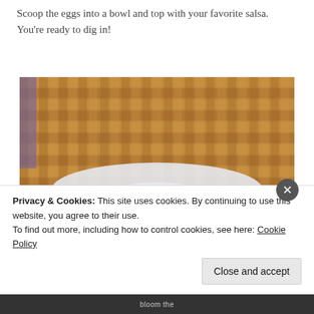Scoop the eggs into a bowl and top with your favorite salsa. You're ready to dig in!
[Figure (photo): A white bowl on a bamboo mat placemat containing scrambled eggs with sautéed spinach topped with chopped tomato salsa]
Privacy & Cookies: This site uses cookies. By continuing to use this website, you agree to their use.
To find out more, including how to control cookies, see here: Cookie Policy
Close and accept
bloom the